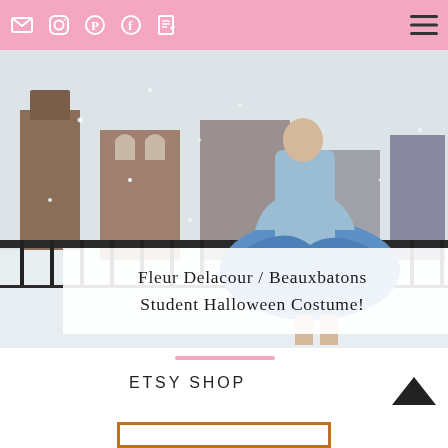Navigation bar with social icons (email, Instagram, Pinterest, Facebook, blog) and hamburger menu
[Figure (photo): Person wearing a blue midi skirt and light blue top, standing on a snowy rooftop with city buildings in the background. Snowflakes visible in the air.]
Fleur Delacour / Beauxbatons Student Halloween Costume!
ETSY SHOP
[Figure (other): Partial view of an Etsy shop product box with orange border at the bottom of the page]